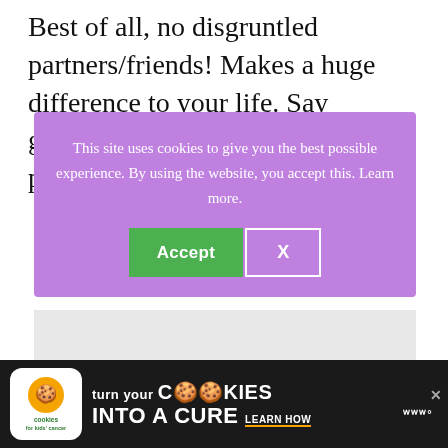Best of all, no disgruntled partners/friends! Makes a huge difference to your life. Say goodbye to a tangled mess of yarn problem.
[Figure (screenshot): Cookie consent overlay with purple background. Text reads: 'This site uses cookies to give you the best possible experience. By using the website, you accept this. Learn more.' Two buttons: green 'Accept' and outlined 'X'.]
[Figure (infographic): Advertisement bar at the bottom: 'Cookies for Kids Cancer - turn your COOKIES into a CURE LEARN HOW' with cookie logo on black background, and a brand logo on the right.]